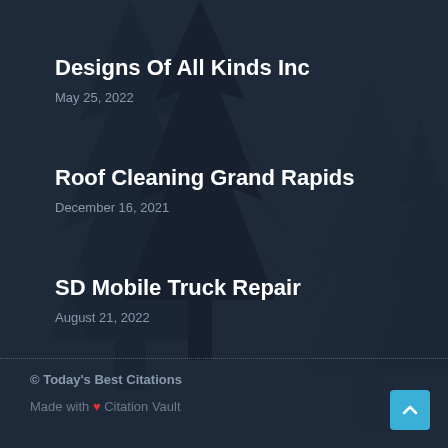[Figure (illustration): Dark navy blue background with silhouettes of pine/fir trees in a slightly darker shade, creating a subtle nature background]
Designs Of All Kinds Inc
May 25, 2022
Roof Cleaning Grand Rapids
December 16, 2021
SD Mobile Truck Repair
August 21, 2022
© Today's Best Citations
Made with ❤ Citation Vault